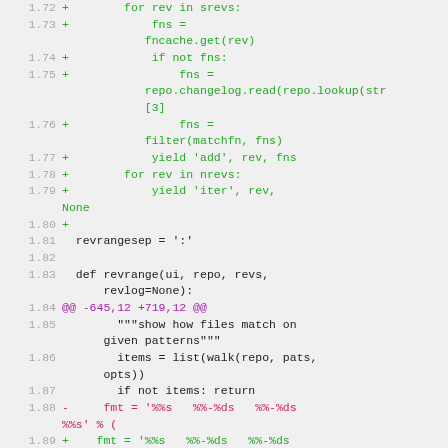Code diff view showing lines 1.72 through 1.90 of a source file with added (+), removed (-), and context lines in a monospace code display.